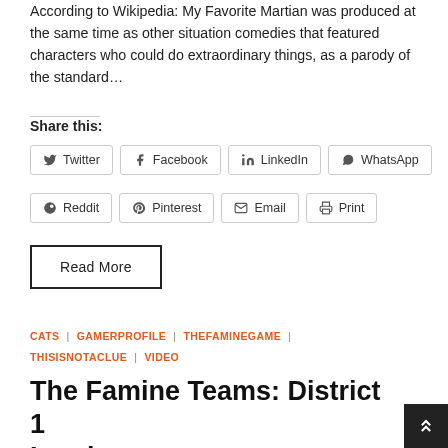According to Wikipedia: My Favorite Martian was produced at the same time as other situation comedies that featured characters who could do extraordinary things, as a parody of the standard…
Share this:
Twitter
Facebook
LinkedIn
WhatsApp
Reddit
Pinterest
Email
Print
Read More
CATS | GAMERPROFILE | THEFAMINEGAME | THISISNOTACLUE | VIDEO
The Famine Teams: District 1 Lumber